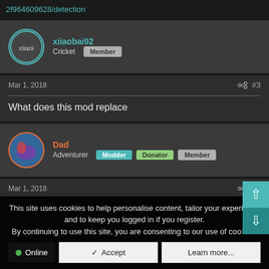2f964609628/detection
xiiaobai92
Cricket Member
Mar 1, 2018  #3
What does this mod replace
Dad
Adventurer Modder Donator Member
Mar 1, 2018  #4
This site uses cookies to help personalise content, tailor your experience and to keep you logged in if you register.
By continuing to use this site, you are consenting to our use of cookies. Online  Accept  Learn more...